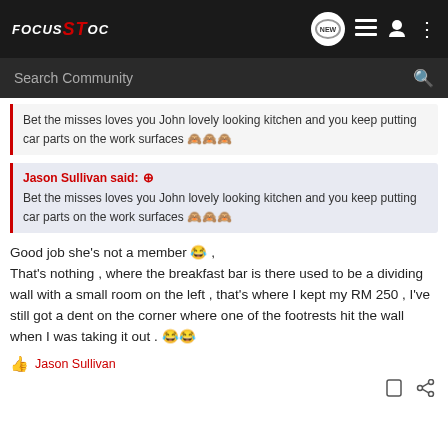[Figure (logo): Focus ST OC forum logo in white and red on dark background]
Search Community
Bet the misses loves you John lovely looking kitchen and you keep putting car parts on the work surfaces 🙈🙈🙈
Jason Sullivan said: ↑
Bet the misses loves you John lovely looking kitchen and you keep putting car parts on the work surfaces 🙈🙈🙈
Good job she's not a member 😂 ,
That's nothing , where the breakfast bar is there used to be a dividing wall with a small room on the left , that's where I kept my RM 250 , I've still got a dent on the corner where one of the footrests hit the wall when I was taking it out . 😂😂
Jason Sullivan